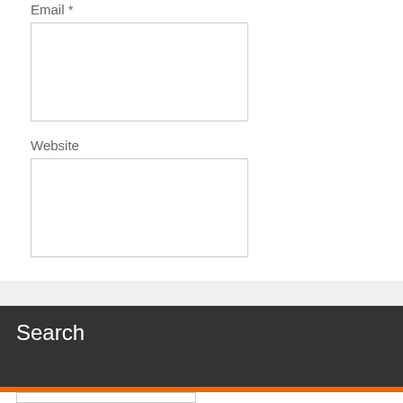Email *
Website
Post Comment
Search